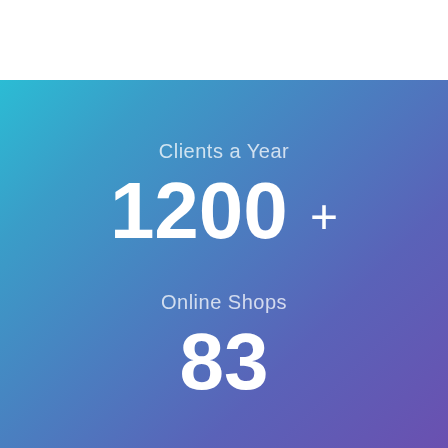Clients a Year
1200 +
Online Shops
83